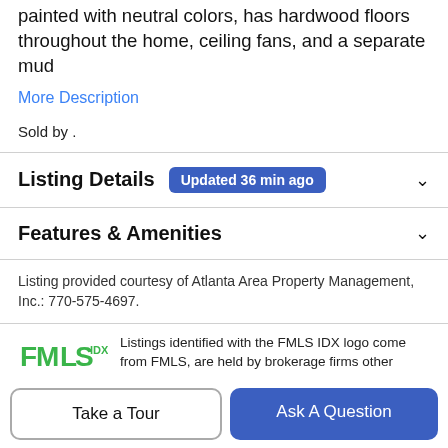painted with neutral colors, has hardwood floors throughout the home, ceiling fans, and a separate mud
More Description
Sold by .
Listing Details   Updated 36 min ago
Features & Amenities
Listing provided courtesy of Atlanta Area Property Management, Inc.: 770-575-4697.
Listings identified with the FMLS IDX logo come from FMLS, are held by brokerage firms other than the owner of this website and the listing brokerage is identified in any listing details. Information is deemed reliable but is
Take a Tour
Ask A Question